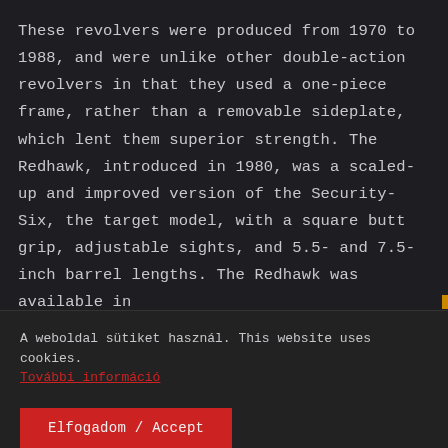These revolvers were produced from 1970 to 1988, and were unlike other double-action revolvers in that they used a one-piece frame, rather than a removable sideplate, which lent them superior strength. The Redhawk, introduced in 1980, was a scaled-up and improved version of the Security-Six, the target model, with a square butt grip, adjustable sights, and 5.5- and 7.5-inch barrel lengths. The Redhawk was available in
A weboldal sütiket használ. This website uses cookies. További információ
Elfogadom / Accept